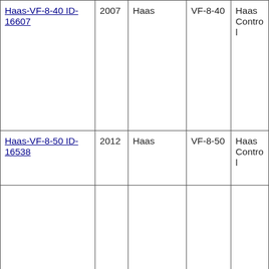| Haas-VF-8-40 ID-16607 | 2007 | Haas | VF-8-40 | Haas Control |
| Haas-VF-8-50 ID-16538 | 2012 | Haas | VF-8-50 | Haas Control |
|  |  |  |  | Haas |